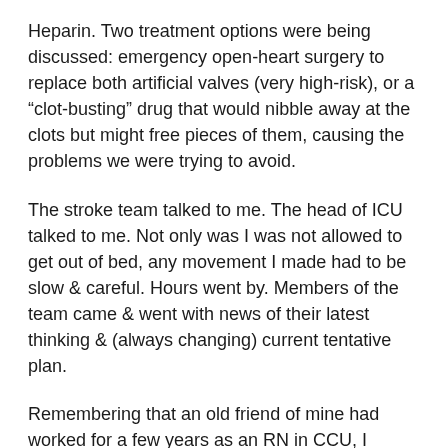Heparin. Two treatment options were being discussed: emergency open-heart surgery to replace both artificial valves (very high-risk), or a “clot-busting” drug that would nibble away at the clots but might free pieces of them, causing the problems we were trying to avoid.
The stroke team talked to me. The head of ICU talked to me. Not only was I was not allowed to get out of bed, any movement I made had to be slow & careful. Hours went by. Members of the team came & went with news of their latest thinking & (always changing) current tentative plan.
Remembering that an old friend of mine had worked for a few years as an RN in CCU, I